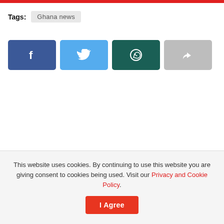Tags: Ghana news
[Figure (other): Social share buttons: Facebook (blue), Twitter (light blue), WhatsApp (dark teal), Share (grey)]
This website uses cookies. By continuing to use this website you are giving consent to cookies being used. Visit our Privacy and Cookie Policy.